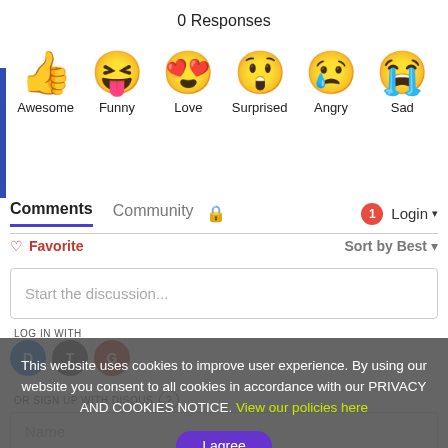0 Responses
[Figure (illustration): Six emoji reaction icons in a row: thumbs up (Awesome), laughing face with tongue (Funny), heart eyes face (Love), surprised face (Surprised), crying face (Angry), sad face with tear (Sad)]
Awesome   Funny   Love   Surprised   Angry   Sad
Comments   Community   🔒   1   Login ▾
♡ Favorite   Sort by Best ▾
Start the discussion...
LOG IN WITH
OR SIGN UP WITH DISQUS ?
Name
This website uses cookies to improve user experience. By using our website you consent to all cookies in accordance with our PRIVACY AND COOKIES NOTICE. View our policies here
I agree